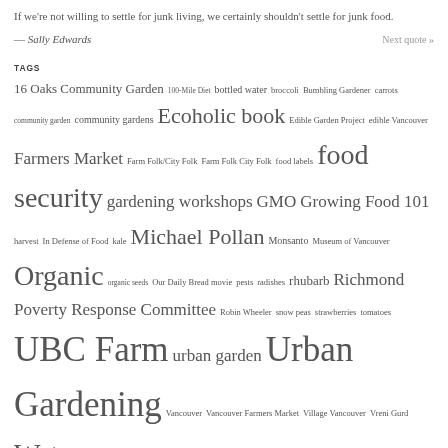If we're not willing to settle for junk living, we certainly shouldn't settle for junk food.
— Sally Edwards
Next quote »
TAGS
16 Oaks Community Garden  100-Mile Diet  bottled water  broccoli  Bumbling Gardener  carrots  community garden  community gardens  Ecoholic book  Edible Garden Project  edible Vancouver  Farmers Market  Farm Folk/City Folk  Farm Folk City Folk  food labels  food security  gardening workshops  GMO  Growing Food 101  harvest  In Defense of Food  kale  Michael Pollan  Monsanto  Museum of Vancouver  Organic  organic seeds  Our Daily Bread movie  pests  radishes  rhubarb  Richmond Poverty Response Committee  Robin Wheeler  snow peas  strawberries  tomatoes  UBC Farm  urban garden  Urban Gardening  Vancouver  Vancouver Farmers Market  Village Vancouver  Vreni Gurd  Water  West Coast Seeds